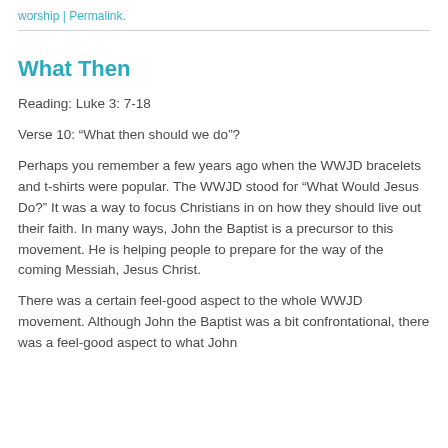worship | Permalink.
What Then
Reading: Luke 3: 7-18
Verse 10: “What then should we do”?
Perhaps you remember a few years ago when the WWJD bracelets and t-shirts were popular. The WWJD stood for “What Would Jesus Do?” It was a way to focus Christians in on how they should live out their faith. In many ways, John the Baptist is a precursor to this movement. He is helping people to prepare for the way of the coming Messiah, Jesus Christ.
There was a certain feel-good aspect to the whole WWJD movement. Although John the Baptist was a bit confrontational, there was a feel-good aspect to what John